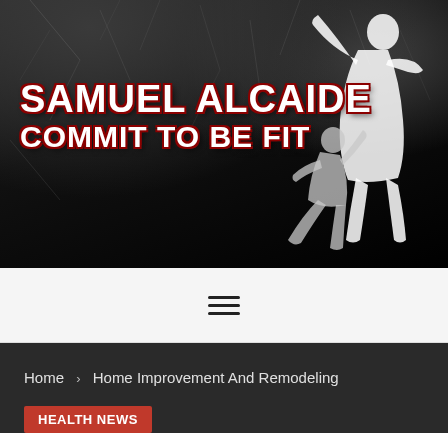[Figure (logo): Samuel Alcaide fitness website banner with dark cracked texture background, bold white text with red outline reading SAMUEL ALCAIDE and COMMIT TO BE FIT, and white silhouette figures of a bodybuilder and dancer on the right side]
≡
Home > Home Improvement And Remodeling
HEALTH NEWS